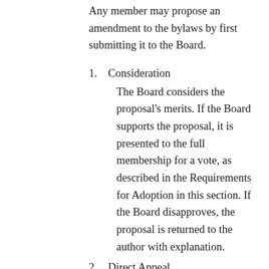Any member may propose an amendment to the bylaws by first submitting it to the Board.
1. Consideration
The Board considers the proposal's merits. If the Board supports the proposal, it is presented to the full membership for a vote, as described in the Requirements for Adoption in this section. If the Board disapproves, the proposal is returned to the author with explanation.
2. Direct Appeal
If the author disagrees with the Board's decision, he may then have the proposal placed on the agenda for discussion at the next membership meeting, after which a motion may be made to present the proposal to the full membership for a vote, as described in the